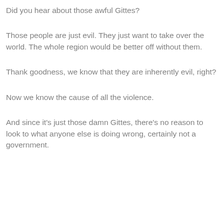Did you hear about those awful Gittes?
Those people are just evil.  They just want to take over the world.  The whole region would be better off without them.
Thank goodness, we know that they are inherently evil, right?
Now we know the cause of all the violence.
And since it's just those damn Gittes, there's no reason to look to what anyone else is doing wrong, certainly not a government.